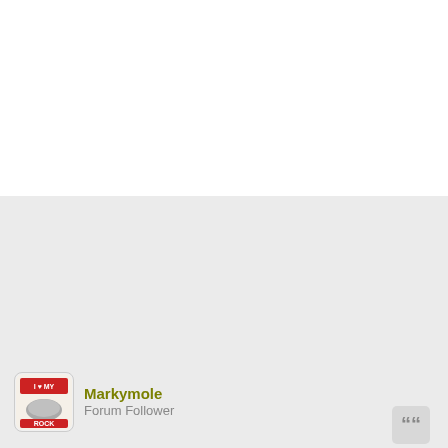[Figure (screenshot): Forum post UI with white top section and gray bottom section. A quote button icon appears in the upper right of the gray section. At the bottom left is a user avatar (rock with 'I Love My Rock' text) alongside the username 'Markymole' and role 'Forum Follower'.]
Markymole
Forum Follower